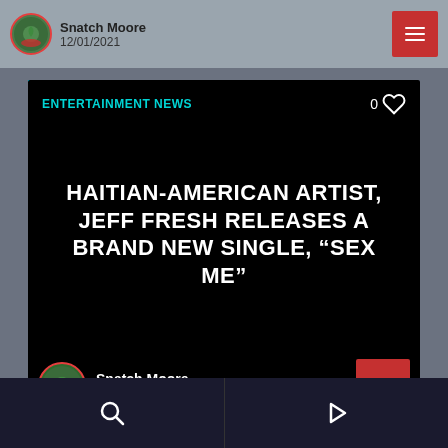[Figure (screenshot): Partial top card showing avatar with Snatch Moore author and date 12/01/2021 with red menu button]
ENTERTAINMENT NEWS
HAITIAN-AMERICAN ARTIST, JEFF FRESH RELEASES A BRAND NEW SINGLE, “SEX ME”
Snatch Moore
11/12/2020
[Figure (screenshot): Bottom navigation bar with search icon on left and play icon on right]